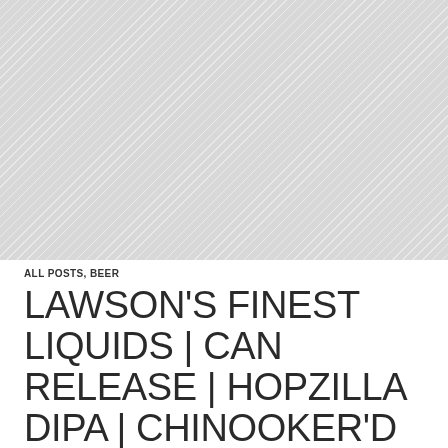[Figure (photo): Large image placeholder with diagonal striped grey pattern occupying the top portion of the page]
ALL POSTS, BEER
LAWSON'S FINEST LIQUIDS | CAN RELEASE | HOPZILLA DIPA | CHINOOKER'D IPA | SUGARHOUSE IPA | THE